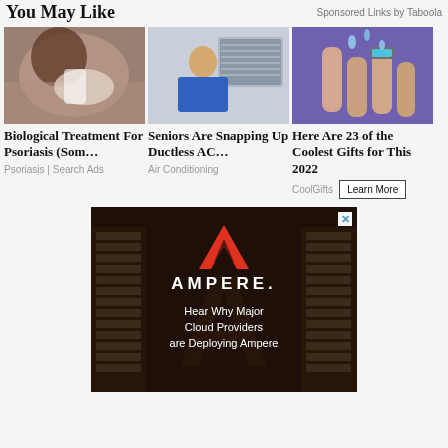You May Like
Sponsored Links by Taboola
[Figure (photo): Woman getting eye drops or hair treatment]
Biological Treatment For Psoriasis (Som…
Psoriasis | Search Ads
[Figure (photo): Technician installing ductless AC unit]
Seniors Are Snapping Up Ductless AC…
Air Conditioning
[Figure (photo): Hands with water droplets, ring]
Here Are 23 of the Coolest Gifts for This 2022
CoolGifts
[Figure (logo): Ampere advertisement - Hear Why Major Cloud Providers are Deploying Ampere]